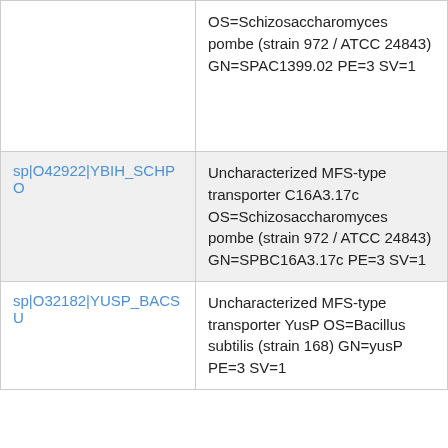|  | OS=Schizosaccharomyces pombe (strain 972 / ATCC 24843) GN=SPAC1399.02 PE=3 SV=1 |
| sp|O42922|YBIH_SCHPO | Uncharacterized MFS-type transporter C16A3.17c OS=Schizosaccharomyces pombe (strain 972 / ATCC 24843) GN=SPBC16A3.17c PE=3 SV=1 |
| sp|O32182|YUSP_BACSU | Uncharacterized MFS-type transporter YusP OS=Bacillus subtilis (strain 168) GN=yusP PE=3 SV=1 |